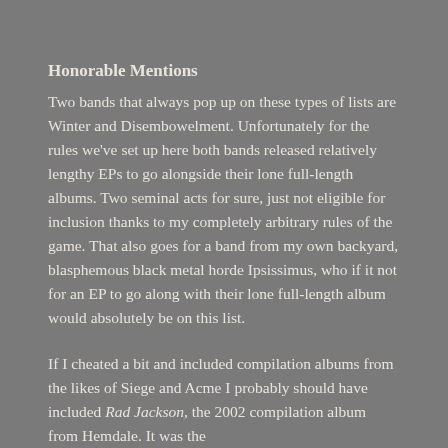Honorable Mentions
Two bands that always pop up on these types of lists are Winter and Disembowelment. Unfortunately for the rules we've set up here both bands released relatively lengthy EPs to go alongside their lone full-length albums. Two seminal acts for sure, just not eligible for inclusion thanks to my completely arbitrary rules of the game. That also goes for a band from my own backyard, blasphemous black metal horde Ipsissimus, who if it not for an EP to go along with their lone full-length album would absolutely be on this list.
If I cheated a bit and included compilation albums from the likes of Siege and Acme I probably should have included Rad Jackson, the 2002 compilation album from Hemdale. It was the